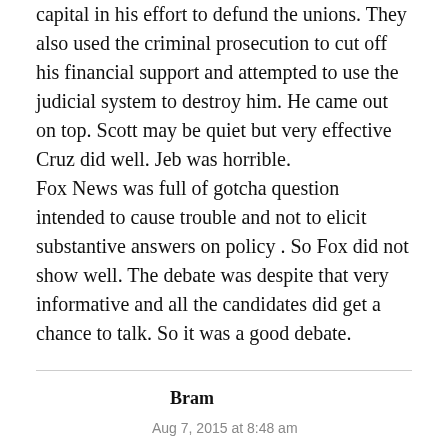…political in his year-long protests at his capital in his effort to defund the unions. They also used the criminal prosecution to cut off his financial support and attempted to use the judicial system to destroy him. He came out on top. Scott may be quiet but very effective Cruz did well. Jeb was horrible.
Fox News was full of gotcha question intended to cause trouble and not to elicit substantive answers on policy . So Fox did not show well. The debate was despite that very informative and all the candidates did get a chance to talk. So it was a good debate.
Bram
Aug 7, 2015 at 8:48 am